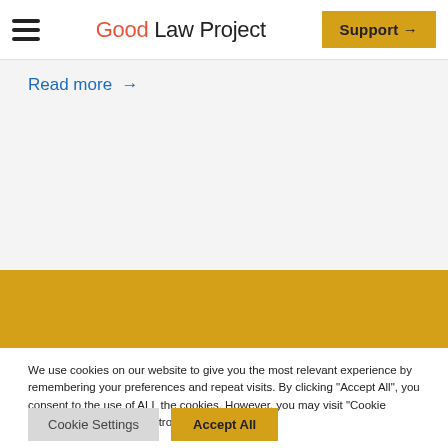Good Law Project — Support →
Read more →
[Figure (other): Yellow decorative banner strip]
We use cookies on our website to give you the most relevant experience by remembering your preferences and repeat visits. By clicking "Accept All", you consent to the use of ALL the cookies. However, you may visit "Cookie Settings" to provide a controlled consent.
Cookie Settings   Accept All